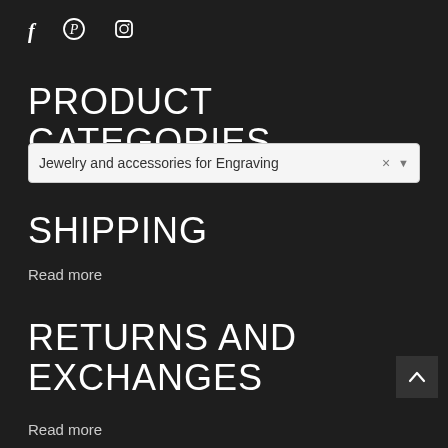f  [pinterest icon]  [instagram icon]
PRODUCT CATEGORIES
Jewelry and accessories for Engraving
SHIPPING
Read more
RETURNS AND EXCHANGES
Read more